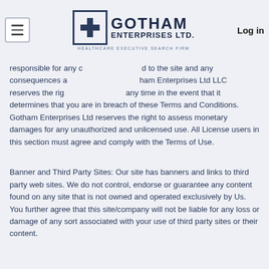Gotham Enterprises Ltd — Healthcare Executive Search Firm
responsible for any [content uploaded] to the site and any consequences a[rising therefrom.] Gotham Enterprises Ltd LLC reserves the rig[ht to terminate] any time in the event that it determines that you are in breach of these Terms and Conditions. Gotham Enterprises Ltd reserves the right to assess monetary damages for any unauthorized and unlicensed use. All License users in this section must agree and comply with the Terms of Use.
Banner and Third Party Sites: Our site has banners and links to third party web sites. We do not control, endorse or guarantee any content found on any site that is not owned and operated exclusively by Us. You further agree that this site/company will not be liable for any loss or damage of any sort associated with your use of third party sites or their content.